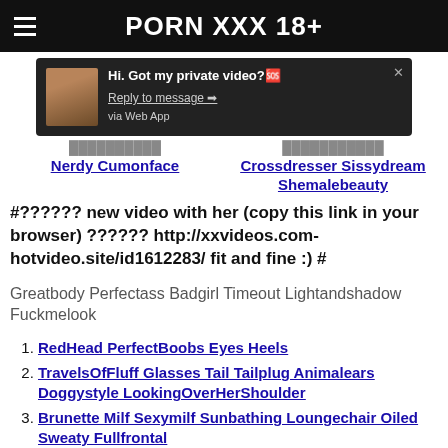PORN XXX 18+
[Figure (screenshot): Notification banner with thumbnail image showing 'Hi. Got my private video? Reply to message → via Web App']
Nerdy Cumonface   Shemale Bavming Crossdresser Sissydream Shemalebeauty
#?????? new video with her (copy this link in your browser) ?????? http://xxvideos.com-hotvideo.site/id1612283/ fit and fine :) #
Greatbody Perfectass Badgirl Timeout Lightandshadow Fuckmelook
RedHead PerfectBoobs Eyes Heels
TravelsOfFluff Glasses Tail Tailplug Animalears Doggystyle LookingOverHerShoulder
Brunette Milf Sexymilf Sunbathing Loungechair Oiled Sweaty Fullfrontal